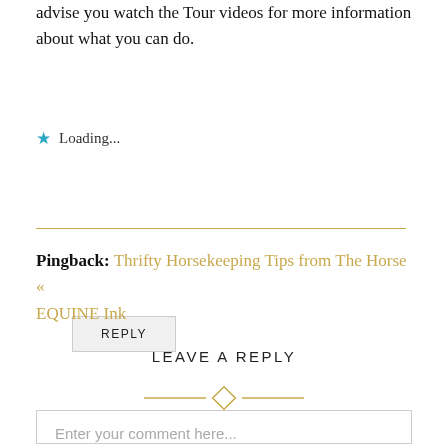advise you watch the Tour videos for more information about what you can do.
Loading...
REPLY
Pingback: Thrifty Horsekeeping Tips from The Horse « EQUINE Ink
LEAVE A REPLY
Enter your comment here...